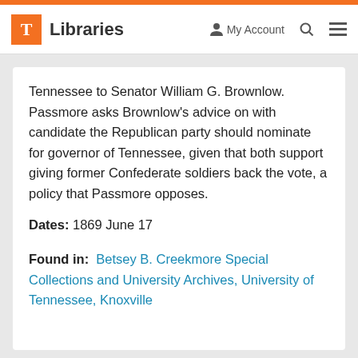T Libraries  My Account  [search] [menu]
Tennessee to Senator William G. Brownlow. Passmore asks Brownlow's advice on with candidate the Republican party should nominate for governor of Tennessee, given that both support giving former Confederate soldiers back the vote, a policy that Passmore opposes.
Dates: 1869 June 17
Found in: Betsey B. Creekmore Special Collections and University Archives, University of Tennessee, Knoxville